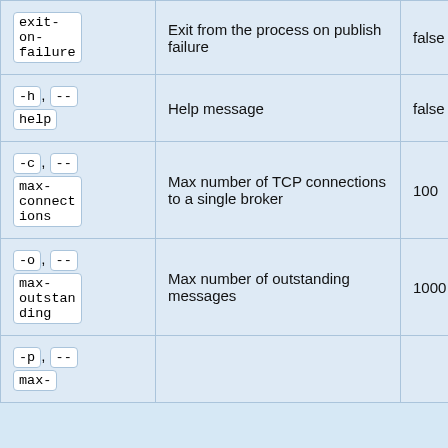| Flag | Description | Default |
| --- | --- | --- |
| exit-on-failure | Exit from the process on publish failure | false |
| -h, --help | Help message | false |
| -c, --max-connections | Max number of TCP connections to a single broker | 100 |
| -o, --max-outstanding | Max number of outstanding messages | 1000 |
| -p, --max- |  |  |